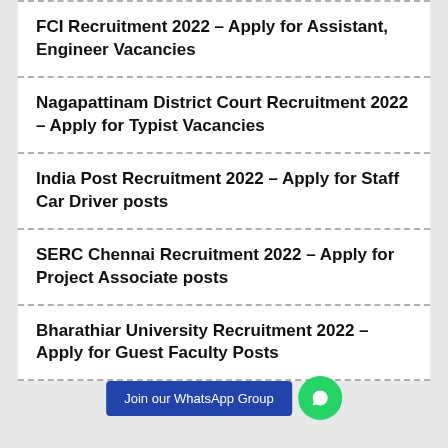FCI Recruitment 2022 – Apply for Assistant, Engineer Vacancies
Nagapattinam District Court Recruitment 2022 – Apply for Typist Vacancies
India Post Recruitment 2022 – Apply for Staff Car Driver posts
SERC Chennai Recruitment 2022 – Apply for Project Associate posts
Bharathiar University Recruitment 2022 – Apply for Guest Faculty Posts